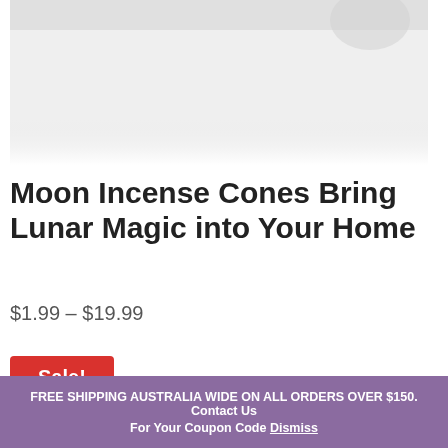[Figure (photo): Product photo top portion showing a light gray/white background with partial product image]
Moon Incense Cones Bring Lunar Magic into Your Home
$1.99 – $19.99
Sale!
[Figure (photo): Product photo showing incense cone boxes with colorful designs on black background including a red circular symbol and glowing rings]
FREE SHIPPING AUSTRALIA WIDE ON ALL ORDERS OVER $150. Contact Us For Your Coupon Code Dismiss